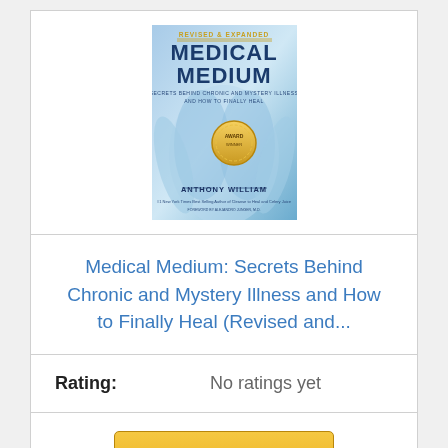[Figure (photo): Book cover of 'Medical Medium: Secrets Behind Chronic and Mystery Illness and How to Finally Heal' Revised & Expanded edition by Anthony William, featuring a blue toned image of a person's torso/chest area with a gold medallion badge, published text at top reading 'REVISED & EXPANDED' in gold, and author name at bottom.]
Medical Medium: Secrets Behind Chronic and Mystery Illness and How to Finally Heal (Revised and...
Rating: No ratings yet
Buy on Amazon
Bestseller No. 8